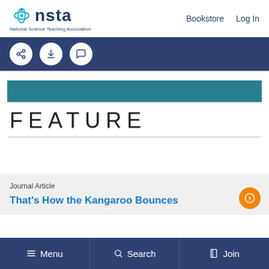[Figure (logo): NSTA National Science Teaching Association logo with teal atom-like icon and dark blue text]
Bookstore   Log In
[Figure (screenshot): Toolbar with dark blue background containing three circular icon buttons: share, download, and comment]
[Figure (infographic): Teal horizontal bar above the word FEATURE]
FEATURE
Journal Article
That's How the Kangaroo Bounces
Menu   Search   Join